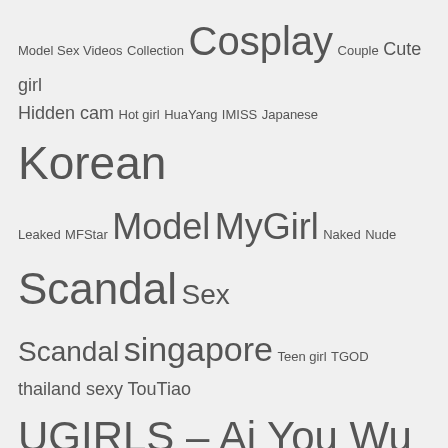Model Sex Videos Collection Cosplay Couple Cute girl Hidden cam Hot girl HuaYang IMISS Japanese Korean Leaked MFStar Model MyGirl Naked Nude Scandal Sex Scandal singapore Teen girl TGOD thailand sexy TouTiao UGIRLS – Ai You Wu App Wang Yu Chun XiaoYu XIUREN Yang Chen Chen YouMi Zhou Yuxi
MUST WATCH
Coser@𝕄𝕒𝕒aa Vol.032: 𝕏𝕏𝕏𝕏 (43 photos)
Coser@𝕄𝕒𝕒𝕒aa Vol.032: 𝕏𝕏𝕏 (43 photos)
[Figure (photo): Photo thumbnail with MrCong.com watermark showing a woman holding a translucent white veil or fabric over her head]